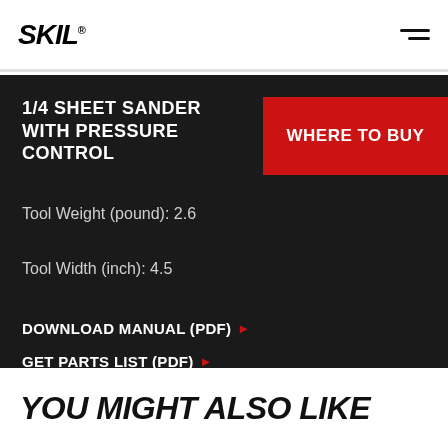SKIL
1/4 SHEET SANDER WITH PRESSURE CONTROL
WHERE TO BUY
Tool Weight (pound): 2.6
Tool Width (inch): 4.5
DOWNLOAD MANUAL (PDF) ▶
GET PARTS LIST (PDF) ▶
YOU MIGHT ALSO LIKE